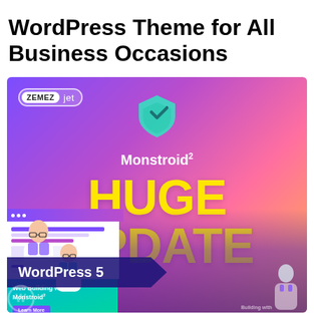WordPress Theme for All Business Occasions
[Figure (illustration): Monstroid2 WordPress theme promotional banner with purple-to-pink gradient background, ZEMEZ jet badge, teal shield logo, 'HUGE UPDATE' text in yellow, screenshot cards of the theme, people/person images, WordPress 5 badge, and 'Building with' text at bottom.]